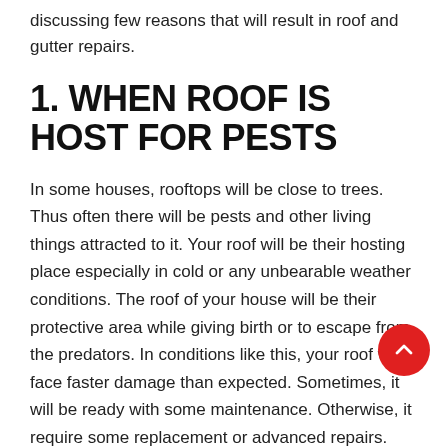discussing few reasons that will result in roof and gutter repairs.
1. WHEN ROOF IS HOST FOR PESTS
In some houses, rooftops will be close to trees. Thus often there will be pests and other living things attracted to it. Your roof will be their hosting place especially in cold or any unbearable weather conditions. The roof of your house will be their protective area while giving birth or to escape from the predators. In conditions like this, your roof will face faster damage than expected. Sometimes, it will be ready with some maintenance. Otherwise, it require some replacement or advanced repairs. The Tapco roofing company is in the field of roofing around a century and is a popular roof tile brand in